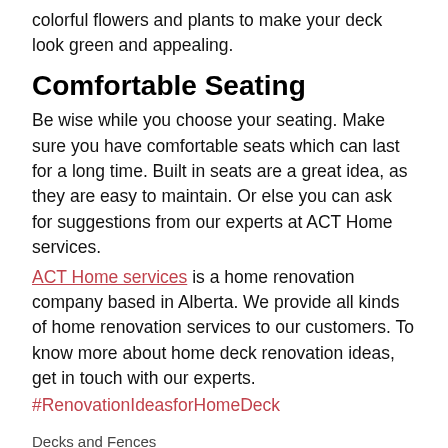colorful flowers and plants to make your deck look green and appealing.
Comfortable Seating
Be wise while you choose your seating. Make sure you have comfortable seats which can last for a long time. Built in seats are a great idea, as they are easy to maintain. Or else you can ask for suggestions from our experts at ACT Home services.
ACT Home services is a home renovation company based in Alberta. We provide all kinds of home renovation services to our customers. To know more about home deck renovation ideas, get in touch with our experts.
#RenovationIdeasforHomeDeck
Decks and Fences